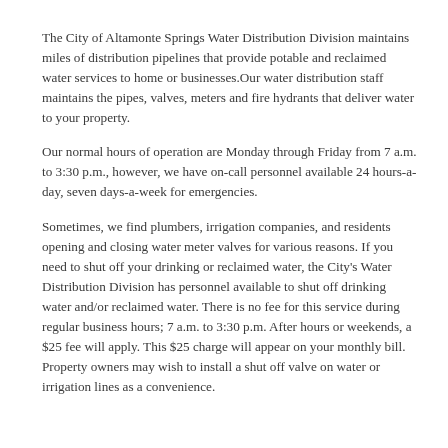The City of Altamonte Springs Water Distribution Division maintains miles of distribution pipelines that provide potable and reclaimed water services to home or businesses.Our water distribution staff maintains the pipes, valves, meters and fire hydrants that deliver water to your property.
Our normal hours of operation are Monday through Friday from 7 a.m. to 3:30 p.m., however, we have on-call personnel available 24 hours-a-day, seven days-a-week for emergencies.
Sometimes, we find plumbers, irrigation companies, and residents opening and closing water meter valves for various reasons. If you need to shut off your drinking or reclaimed water, the City's Water Distribution Division has personnel available to shut off drinking water and/or reclaimed water. There is no fee for this service during regular business hours; 7 a.m. to 3:30 p.m. After hours or weekends, a $25 fee will apply. This $25 charge will appear on your monthly bill. Property owners may wish to install a shut off valve on water or irrigation lines as a convenience.